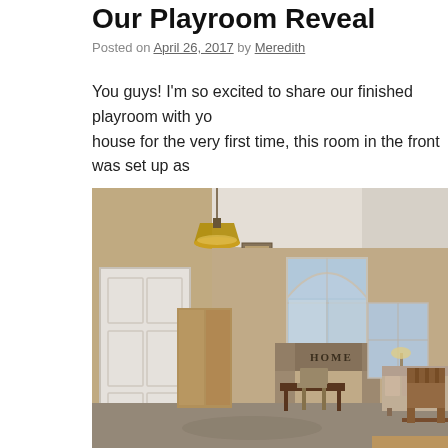Our Playroom Reveal
Posted on April 26, 2017 by Meredith
You guys! I'm so excited to share our finished playroom with you. When we moved into this house for the very first time, this room in the front was set up as
[Figure (photo): Interior room photo showing a front entryway/living area with vaulted ceiling, pendant light fixture, white front door, arched window with HOME valance, a small desk with chair, floral sofa, and wooden dining chairs in the foreground. Warm beige walls and carpet.]